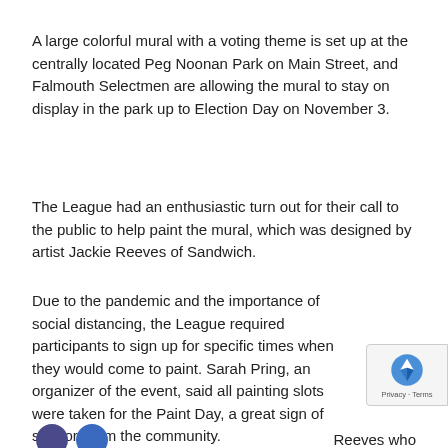A large colorful mural with a voting theme is set up at the centrally located Peg Noonan Park on Main Street, and Falmouth Selectmen are allowing the mural to stay on display in the park up to Election Day on November 3.
The League had an enthusiastic turn out for their call to the public to help paint the mural, which was designed by artist Jackie Reeves of Sandwich.
Due to the pandemic and the importance of social distancing, the League required participants to sign up for specific times when they would come to paint. Sarah Pring, an organizer of the event, said all painting slots were taken for the Paint Day, a great sign of support from the community.
Reeves  who